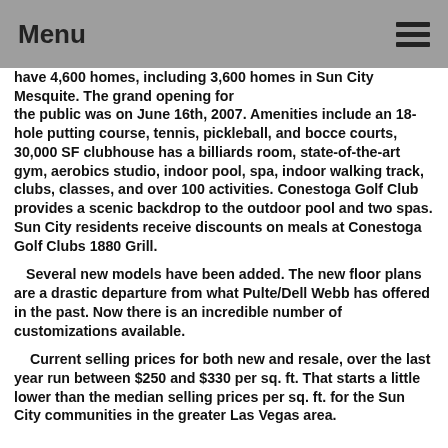Menu
have 4,600 homes, including 3,600 homes in Sun City Mesquite. The grand opening for the public was on June 16th, 2007. Amenities include an 18-hole putting course, tennis, pickleball, and bocce courts, 30,000 SF clubhouse has a billiards room, state-of-the-art gym, aerobics studio, indoor pool, spa, indoor walking track, clubs, classes, and over 100 activities. Conestoga Golf Club provides a scenic backdrop to the outdoor pool and two spas. Sun City residents receive discounts on meals at Conestoga Golf Clubs 1880 Grill.
Several new models have been added. The new floor plans are a drastic departure from what Pulte/Dell Webb has offered in the past. Now there is an incredible number of customizations available.
Current selling prices for both new and resale, over the last year run between $250 and $330 per sq. ft. That starts a little lower than the median selling prices per sq. ft. for the Sun City communities in the greater Las Vegas area.